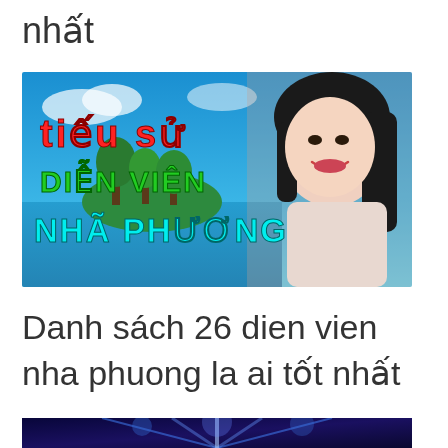nhất
[Figure (photo): Promotional image with text 'Tiểu Sử Diễn Viên Nhã Phương' overlaid on a tropical beach background, with a photo of actress Nhã Phương smiling on the right side.]
Danh sách 26 dien vien nha phuong la ai tốt nhất
[Figure (photo): Partial image at the bottom with a dark blue background and light effects, appears to be a performance or entertainment scene.]